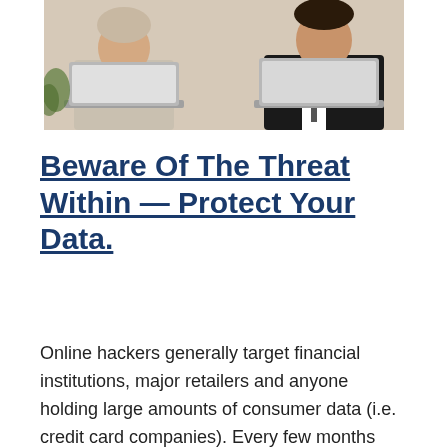[Figure (photo): Two people sitting side by side at laptops — a woman in a light top on the left and a man in a dark suit on the right.]
Beware Of The Threat Within — Protect Your Data.
Online hackers generally target financial institutions, major retailers and anyone holding large amounts of consumer data (i.e. credit card companies). Every few months some major corporation is the